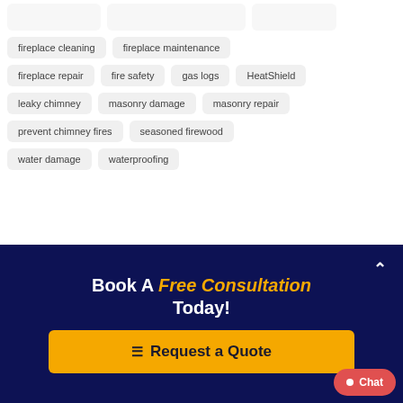fireplace cleaning
fireplace maintenance
fireplace repair
fire safety
gas logs
HeatShield
leaky chimney
masonry damage
masonry repair
prevent chimney fires
seasoned firewood
water damage
waterproofing
Book A Free Consultation Today!
Request a Quote
Chat